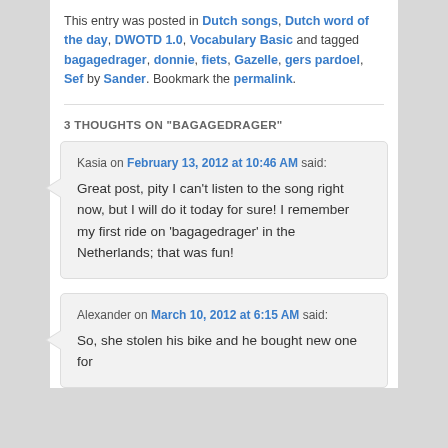This entry was posted in Dutch songs, Dutch word of the day, DWOTD 1.0, Vocabulary Basic and tagged bagagedrager, donnie, fiets, Gazelle, gers pardoel, Sef by Sander. Bookmark the permalink.
3 THOUGHTS ON "BAGAGEDRAGER"
Kasia on February 13, 2012 at 10:46 AM said: Great post, pity I can't listen to the song right now, but I will do it today for sure! I remember my first ride on 'bagagedrager' in the Netherlands; that was fun!
Alexander on March 10, 2012 at 6:15 AM said: So, she stolen his bike and he bought new one for